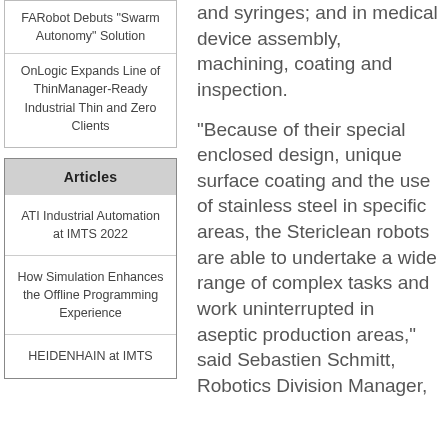FARobot Debuts "Swarm Autonomy" Solution
OnLogic Expands Line of ThinManager-Ready Industrial Thin and Zero Clients
Articles
ATI Industrial Automation at IMTS 2022
How Simulation Enhances the Offline Programming Experience
HEIDENHAIN at IMTS
and syringes; and in medical device assembly, machining, coating and inspection.
"Because of their special enclosed design, unique surface coating and the use of stainless steel in specific areas, the Stericlean robots are able to undertake a wide range of complex tasks and work uninterrupted in aseptic production areas," said Sebastien Schmitt, Robotics Division Manager,